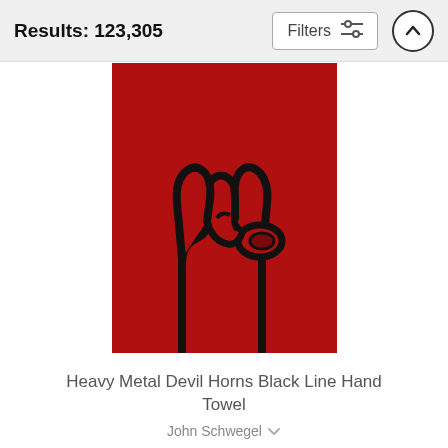Results: 123,305
[Figure (screenshot): Heavy Metal Devil Horns black line drawing on red background hand towel product image]
Heavy Metal Devil Horns Black Line Hand Towel
John Schwegel
$17 (strikethrough) $14